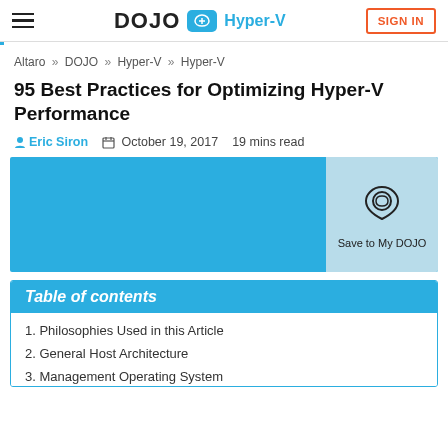DOJO Hyper-V | SIGN IN
Altaro » DOJO » Hyper-V » Hyper-V
95 Best Practices for Optimizing Hyper-V Performance
Eric Siron  October 19, 2017  19 mins read
[Figure (other): Blue featured image banner with Save to My DOJO button in light blue panel on the right]
Table of contents
1. Philosophies Used in this Article
2. General Host Architecture
3. Management Operating System